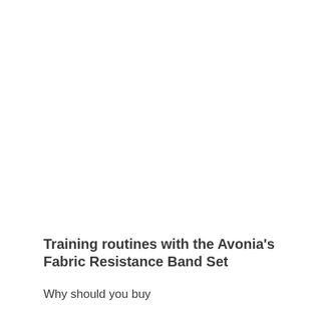Training routines with the Avonia's Fabric Resistance Band Set
Why should you buy